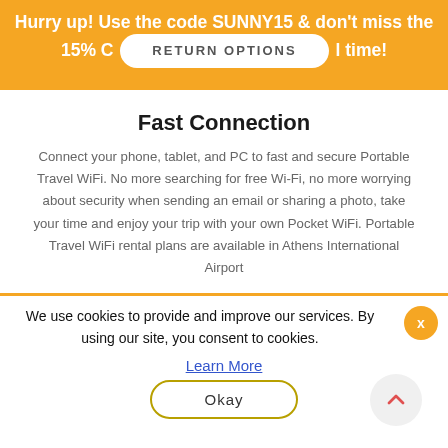Hurry up! Use the code SUNNY15 & don't miss the 15% C... time!
[Figure (other): RETURN OPTIONS button - white rounded pill button on orange background]
Fast Connection
Connect your phone, tablet, and PC to fast and secure Portable Travel WiFi. No more searching for free Wi-Fi, no more worrying about security when sending an email or sharing a photo, take your time and enjoy your trip with your own Pocket WiFi. Portable Travel WiFi rental plans are available in Athens International Airport
We use cookies to provide and improve our services. By using our site, you consent to cookies.
Learn More
Okay